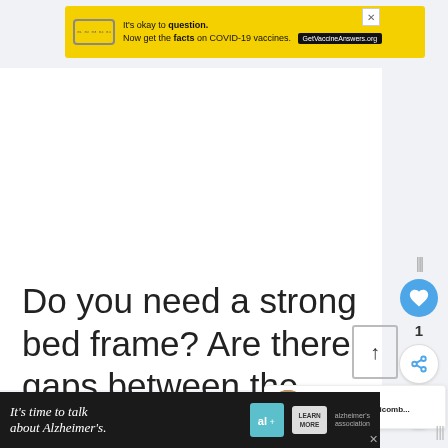[Figure (screenshot): Yellow advertisement banner: 'It's okay to question. Now get the facts on COVID-19 vaccines. GetVaccineAnswers.org']
Do you need a strong bed frame? Are there gaps between the slats that weaken your support system and make it difficult to sleep well at night?
[Figure (screenshot): Dark advertisement banner: 'It's time to talk about Alzheimer's.' with Learn More button and Alzheimer's Association logo]